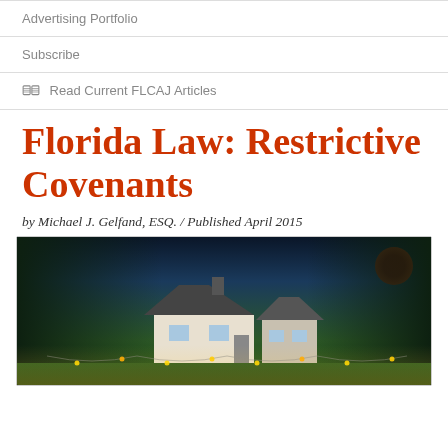Advertising Portfolio
Subscribe
Read Current FLCAJ Articles
Florida Law: Restrictive Covenants
by Michael J. Gelfand, ESQ. / Published April 2015
[Figure (photo): Night-time photograph of a house surrounded by trees with string lights and warm illumination, dark blue sky background]